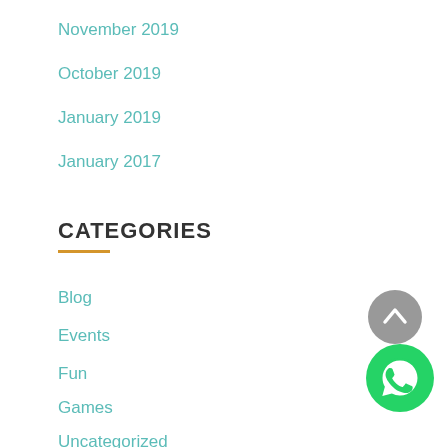November 2019
October 2019
January 2019
January 2017
CATEGORIES
Blog
Events
Fun
Games
Uncategorized